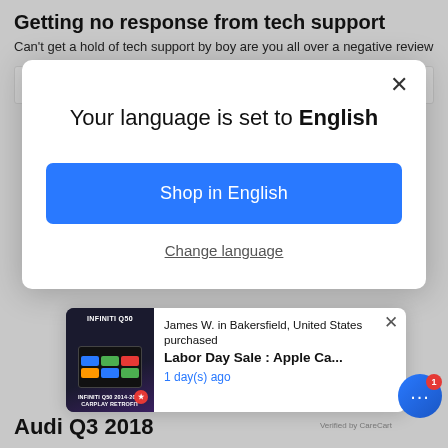Getting no response from tech support
Can't get a hold of tech support by boy are you all over a negative review
>> unavi-usa.com replied:
[Figure (screenshot): Modal dialog: 'Your language is set to English' with 'Shop in English' blue button and 'Change language' link and close X button]
[Figure (screenshot): Notification popup: James W. in Bakersfield, United States purchased Labor Day Sale : Apple Ca... 1 day(s) ago, with product image of Infiniti Q50 CarPlay retrofit and Verified by CareCart footer]
Audi Q3 2018